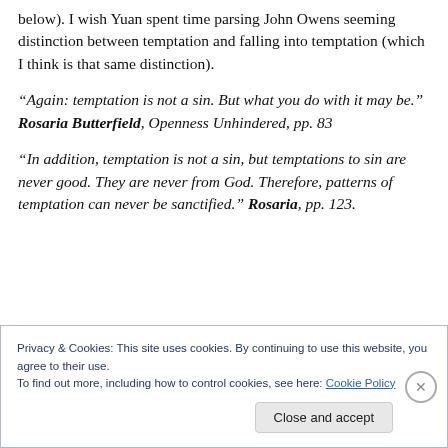below). I wish Yuan spent time parsing John Owens seeming distinction between temptation and falling into temptation (which I think is that same distinction).
“Again: temptation is not a sin. But what you do with it may be.” Rosaria Butterfield, Openness Unhindered, pp. 83
“In addition, temptation is not a sin, but temptations to sin are never good. They are never from God. Therefore, patterns of temptation can never be sanctified.” Rosaria, pp. 123.
Privacy & Cookies: This site uses cookies. By continuing to use this website, you agree to their use.
To find out more, including how to control cookies, see here: Cookie Policy
Close and accept